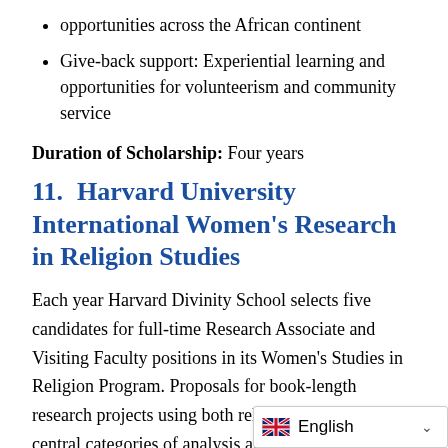opportunities across the African continent
Give-back support: Experiential learning and opportunities for volunteerism and community service
Duration of Scholarship: Four years
11. Harvard University International Women's Research in Religion Studies
Each year Harvard Divinity School selects five candidates for full-time Research Associate and Visiting Faculty positions in its Women's Studies in Religion Program. Proposals for book-length research projects using both religion and gender as central categories of analysis are welcomed. They may address wo